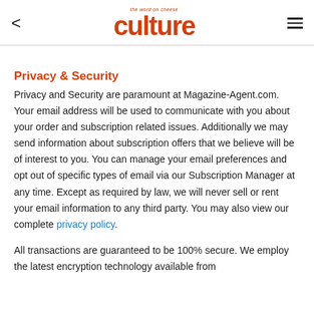culture — the word on cheese
Privacy & Security
Privacy and Security are paramount at Magazine-Agent.com. Your email address will be used to communicate with you about your order and subscription related issues. Additionally we may send information about subscription offers that we believe will be of interest to you. You can manage your email preferences and opt out of specific types of email via our Subscription Manager at any time. Except as required by law, we will never sell or rent your email information to any third party. You may also view our complete privacy policy.
All transactions are guaranteed to be 100% secure. We employ the latest encryption technology available from